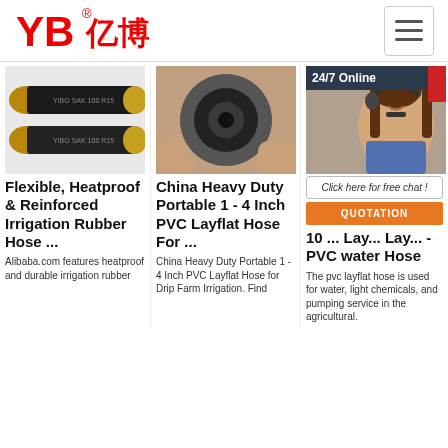[Figure (logo): YB亿博 logo in red with registered trademark symbol]
[Figure (photo): Two black rubber hoses labeled YIBO SAK 100 R15 side by side]
[Figure (photo): Hand holding end of large black corrugated hose showing interior]
[Figure (photo): Customer service woman wearing headset, 24/7 Online overlay banner, chat and quotation buttons]
Flexible, Heatproof & Reinforced Irrigation Rubber Hose ...
China Heavy Duty Portable 1 - 4 Inch PVC Layflat Hose For ...
10 ... Lay... Lay... - PVC water Hose
Alibaba.com features heatproof and durable irrigation rubber
China Heavy Duty Portable 1 - 4 Inch PVC Layflat Hose for Drip Farm Irrigation. Find
The pvc layflat hose is used for water, light chemicals, and pumping service in the agricultural.